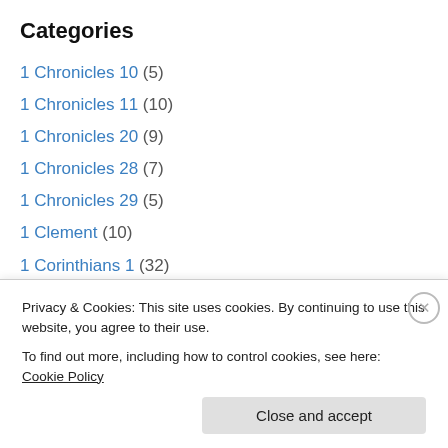Categories
1 Chronicles 10 (5)
1 Chronicles 11 (10)
1 Chronicles 20 (9)
1 Chronicles 28 (7)
1 Chronicles 29 (5)
1 Clement (10)
1 Corinthians 1 (32)
1 Corinthians 10 (16)
1 Corinthians 11 (24)
1 Corinthians 12 (16)
1 Corinthians 13 (15)
Privacy & Cookies: This site uses cookies. By continuing to use this website, you agree to their use. To find out more, including how to control cookies, see here: Cookie Policy
Close and accept